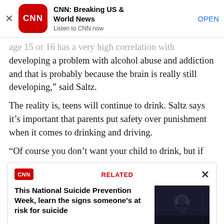[Figure (screenshot): CNN Breaking US & World News app advertisement banner with CNN logo, app name, subtitle 'Listen to CNN now', and OPEN button]
age 15 or 16 has a very high correlation with developing a problem with alcohol abuse and addiction and that is probably because the brain is really still developing,” said Saltz.
The reality is, teens will continue to drink. Saltz says it’s important that parents put safety over punishment when it comes to drinking and driving.
“Of course you don’t want your child to drink, but if
[Figure (screenshot): CNN Related article box: 'This National Suicide Prevention Week, learn the signs someone’s at risk for suicide' with a dark photo of a person with head in hands]